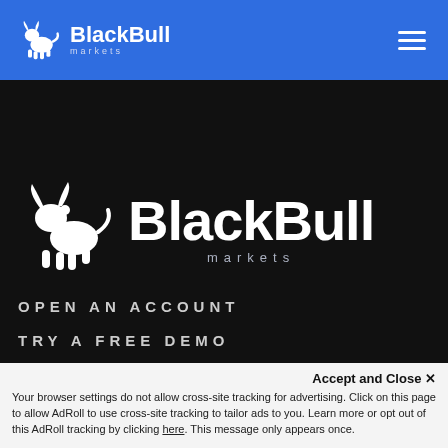[Figure (logo): BlackBull Markets logo in blue header bar with bull icon and brand name]
[Figure (logo): BlackBull Markets large logo on dark background with bull icon, BlackBull text and markets subtitle]
OPEN AN ACCOUNT
TRY A FREE DEMO
Accept and Close ✕
Your browser settings do not allow cross-site tracking for advertising. Click on this page to allow AdRoll to use cross-site tracking to tailor ads to you. Learn more or opt out of this AdRoll tracking by clicking here. This message only appears once.